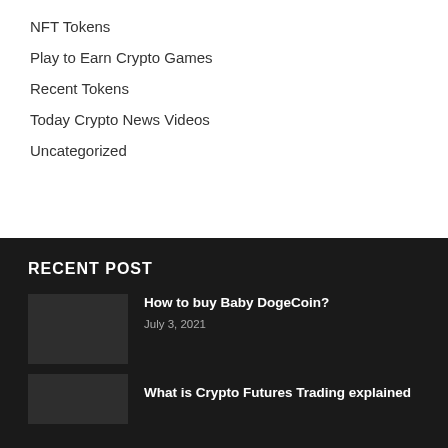NFT Tokens
Play to Earn Crypto Games
Recent Tokens
Today Crypto News Videos
Uncategorized
RECENT POST
How to buy Baby DogeCoin?
July 3, 2021
What is Crypto Futures Trading explained